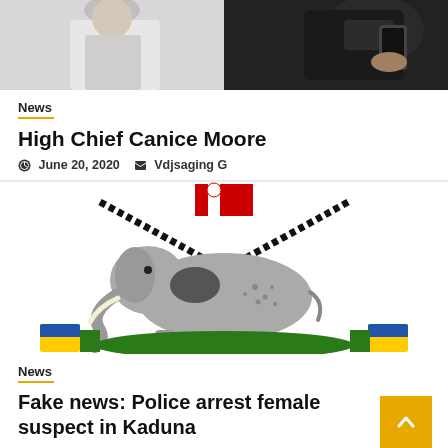[Figure (photo): Top split photo: left side shows a person in white/grey clothing, right side shows a person with a phone in a car]
News
High Chief Canice Moore
June 20, 2020   Vdjsaging G
[Figure (illustration): Nigerian state coat of arms featuring a grey elephant, crossed decorated ropes, red flag element at top, green mound, and yellow/blue/green shield elements on sides]
News
Fake news: Police arrest female suspect in Kaduna